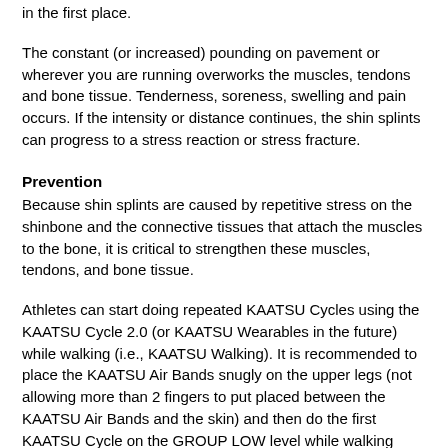in the first place.
The constant (or increased) pounding on pavement or wherever you are running overworks the muscles, tendons and bone tissue. Tenderness, soreness, swelling and pain occurs. If the intensity or distance continues, the shin splints can progress to a stress reaction or stress fracture.
Prevention
Because shin splints are caused by repetitive stress on the shinbone and the connective tissues that attach the muscles to the bone, it is critical to strengthen these muscles, tendons, and bone tissue.
Athletes can start doing repeated KAATSU Cycles using the KAATSU Cycle 2.0 (or KAATSU Wearables in the future) while walking (i.e., KAATSU Walking). It is recommended to place the KAATSU Air Bands snugly on the upper legs (not allowing more than 2 fingers to put placed between the KAATSU Air Bands and the skin) and then do the first KAATSU Cycle on the GROUP LOW level while walking comfortably. This first cycle runs for 4 minutes.